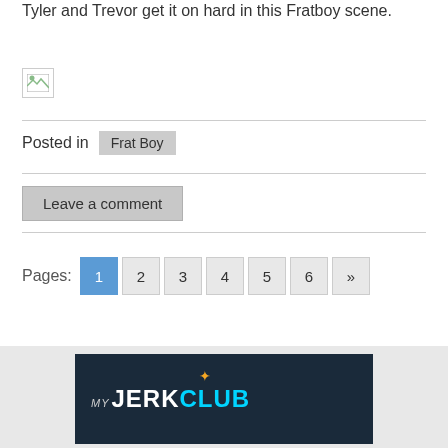Tyler and Trevor get it on hard in this Fratboy scene.
[Figure (photo): Broken/missing image placeholder icon]
Posted in  Frat Boy
Leave a comment
Pages: 1 2 3 4 5 6 »
[Figure (photo): My Jerk Club advertisement banner with logo and person in background]